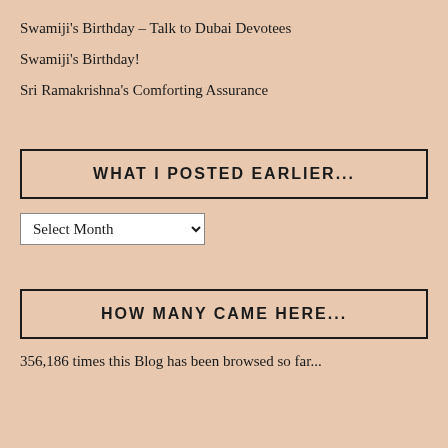Swamiji's Birthday – Talk to Dubai Devotees
Swamiji's Birthday!
Sri Ramakrishna's Comforting Assurance
WHAT I POSTED EARLIER...
Select Month
HOW MANY CAME HERE...
356,186 times this Blog has been browsed so far...